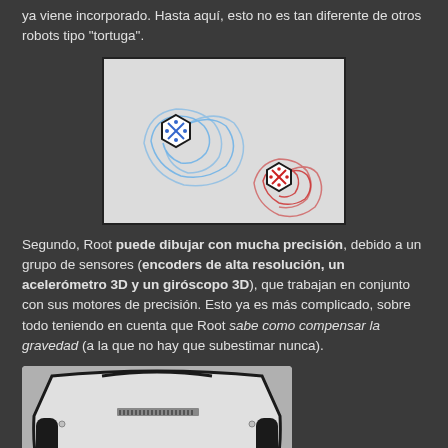ya viene incorporado. Hasta aquí, esto no es tan diferente de otros robots tipo "tortuga".
[Figure (photo): Two small hexagonal robots (one blue, one red) on a white surface, each leaving curved spiral trail lines drawn around them.]
Segundo, Root puede dibujar con mucha precisión, debido a un grupo de sensores (encoders de alta resolución, un acelerómetro 3D y un giróscopo 3D), que trabajan en conjunto con sus motores de precisión. Esto ya es más complicado, sobre todo teniendo en cuenta que Root sabe como compensar la gravedad (a la que no hay que subestimar nunca).
[Figure (photo): Bottom view of a Root robot showing its flat white pentagonal body with black rubber tracks/wheels on the sides, a circular hole in the middle, and a row of small teeth/connector pins near the top edge.]